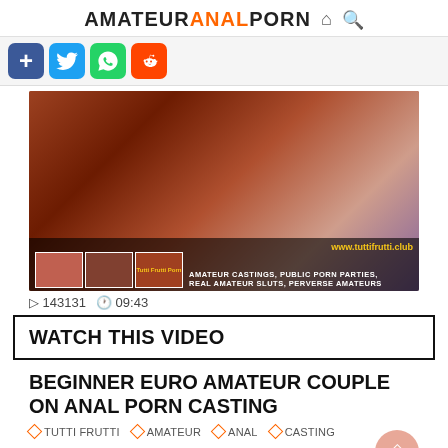AMATEURANALPORN
[Figure (screenshot): Video thumbnail showing adult content with overlay text: www.tuttifrutti.club, AMATEUR CASTINGs, PUBLIC PORN PARTIEs, REAL AMATEUR SLUTs, PERVERSE AMATEURs]
▷ 143131 🕐 09:43
WATCH THIS VIDEO
BEGINNER EURO AMATEUR COUPLE ON ANAL PORN CASTING
TUTTI FRUTTI   AMATEUR   ANAL   CASTING